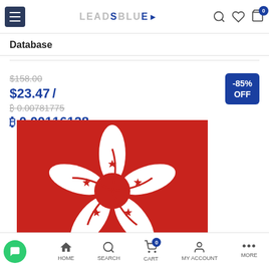LEADSBLUE — navigation bar with menu, logo, search, wishlist, cart (0)
Database
$158.00 (strikethrough original price)
$23.47 / ₿ 0.00781775 (strikethrough)
₿ 0.00116128 (sale price)
-85% OFF badge
[Figure (photo): Hong Kong flag: red background with white bauhinia flower and red stars on petals]
HOME | SEARCH | CART (0) | MY ACCOUNT | MORE